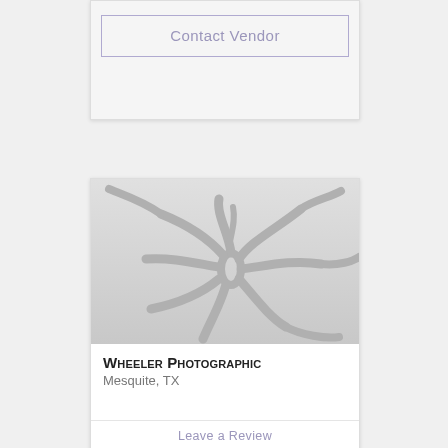Contact Vendor
[Figure (logo): Vendor placeholder image with flower/star logo watermark on gray gradient background]
Wheeler Photographic
Mesquite, TX
Leave a Review